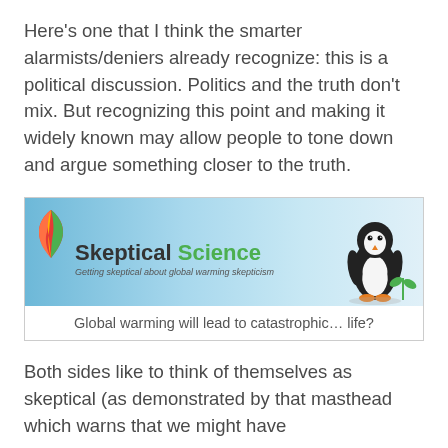Here's one that I think the smarter alarmists/deniers already recognize: this is a political discussion. Politics and the truth don't mix. But recognizing this point and making it widely known may allow people to tone down and argue something closer to the truth.
[Figure (screenshot): Skeptical Science website masthead banner with logo (flame/leaf icon), site title 'Skeptical Science' in black and green, subtitle 'Getting skeptical about global warming skepticism', and a penguin with a small plant on the right side against a blue sky background. Below the banner is the caption text: 'Global warming will lead to catastrophic… life?']
Global warming will lead to catastrophic… life?
Both sides like to think of themselves as skeptical (as demonstrated by that masthead which warns that we might have